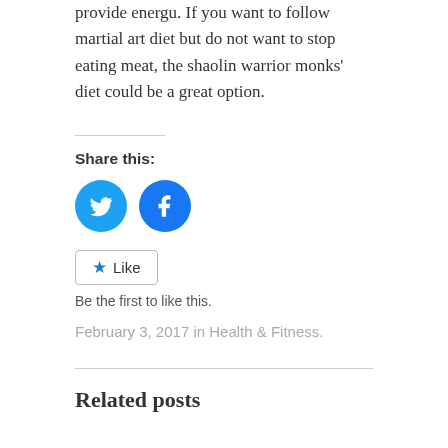provide energu. If you want to follow martial art diet but do not want to stop eating meat, the shaolin warrior monks' diet could be a great option.
Share this:
[Figure (other): Twitter and Facebook circular share icons in blue]
Like
Be the first to like this.
February 3, 2017 in Health & Fitness.
Related posts